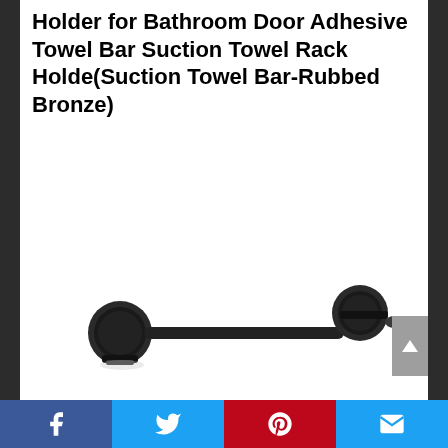Holder for Bathroom Door Adhesive Towel Bar Suction Towel Rack Holde(Suction Towel Bar-Rubbed Bronze)
[Figure (photo): Photo of a rubbed bronze suction cup towel bar with two circular mounting brackets on each end and a horizontal rod connecting them, shown on a white background.]